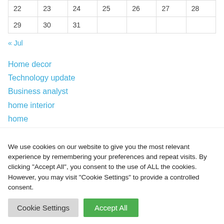| 22 | 23 | 24 | 25 | 26 | 27 | 28 |
| 29 | 30 | 31 |  |  |  |  |
« Jul
Home decor
Technology update
Business analyst
home interior
home
Business
We use cookies on our website to give you the most relevant experience by remembering your preferences and repeat visits. By clicking "Accept All", you consent to the use of ALL the cookies. However, you may visit "Cookie Settings" to provide a controlled consent.
Cookie Settings | Accept All